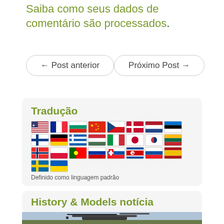Saiba como seus dados de comentário são processados.
← Post anterior
Próximo Post →
Tradução
Definido como linguagem padrão
History & Models notícia
[Figure (photo): A military-style helicopter on a grassy field with a cloudy sky background.]